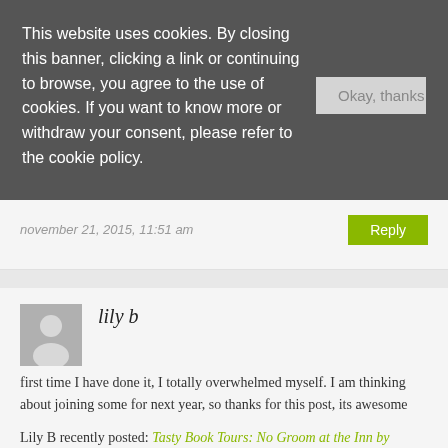This website uses cookies. By closing this banner, clicking a link or continuing to browse, you agree to the use of cookies. If you want to know more or withdraw your consent, please refer to the cookie policy.
Okay, thanks
november 21, 2015, 11:51 am
Reply
lily b
first time I have done it, I totally overwhelmed myself. I am thinking about joining some for next year, so thanks for this post, its awesome
Lily B recently posted: Tasty Book Tours: No Groom at the Inn by Megan Frampton